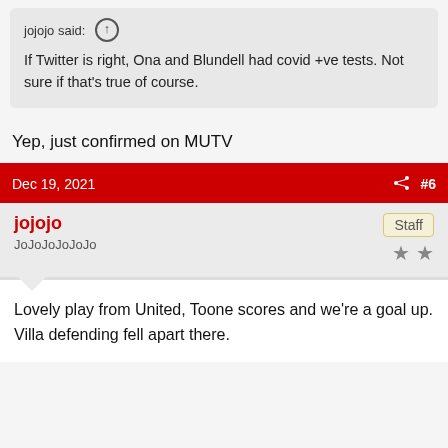jojojo said: ↑
If Twitter is right, Ona and Blundell had covid +ve tests. Not sure if that's true of course.
Yep, just confirmed on MUTV
Dec 19, 2021  #6
jojojo
JoJoJoJoJoJo
Staff
Lovely play from United, Toone scores and we're a goal up. Villa defending fell apart there.